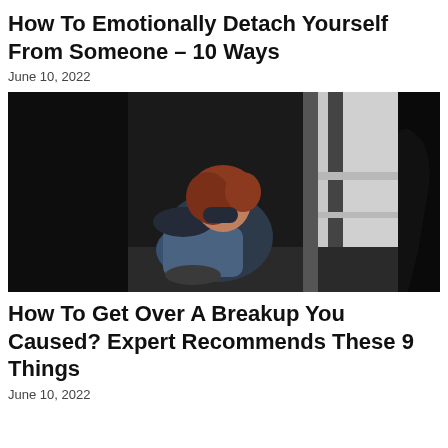How To Emotionally Detach Yourself From Someone – 10 Ways
June 10, 2022
[Figure (photo): A woman with red hair sitting hunched against a window with her knees drawn up to her chest, looking downward in distress. The image is dark with light coming through a window behind her. A dark silhouette is visible on the right side.]
How To Get Over A Breakup You Caused? Expert Recommends These 9 Things
June 10, 2022